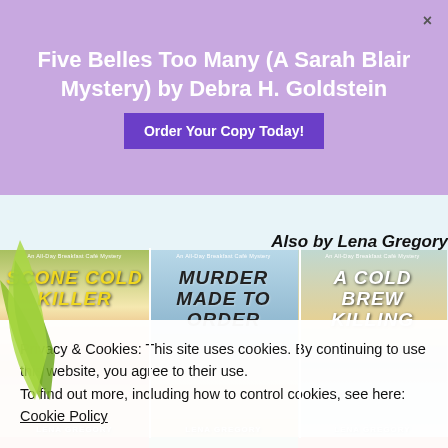Five Belles Too Many (A Sarah Blair Mystery) by Debra H. Goldstein
Order Your Copy Today!
Also by Lena Gregory
[Figure (illustration): Three book covers by Lena Gregory from the All-Day Breakfast Cafe Mystery series: 'Scone Cold Killer', 'Murder Made to Order', and 'A Cold Brew Killing', each showing a dog and cafe scenes]
Privacy & Cookies: This site uses cookies. By continuing to use this website, you agree to their use.
To find out more, including how to control cookies, see here:
Cookie Policy
Close and accept